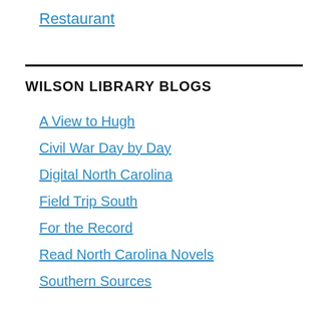Restaurant
WILSON LIBRARY BLOGS
A View to Hugh
Civil War Day by Day
Digital North Carolina
Field Trip South
For the Record
Read North Carolina Novels
Southern Sources